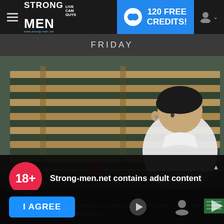STRONG MEN LIVE CAM GUYS — 120 FREE CREDITS!
FRIDAY
[Figure (photo): Young man in white shirt reclining against wooden slatted background with decorative red figurine]
18+
Strong-men.net contains adult content
By using the site, you acknowledge you have read our Privacy Policy, and agree to our Terms and Conditions.
We use cookies to optimize your experience, analyze traffic, and deliver more personalized service. To learn more, please see our Privacy Policy.
I AGREE